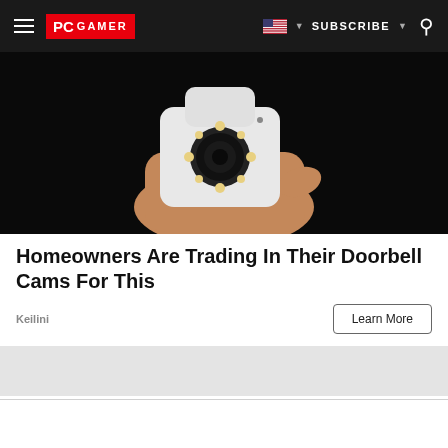PC GAMER — SUBSCRIBE
[Figure (photo): A hand holding a small white security camera against a dark background]
Homeowners Are Trading In Their Doorbell Cams For This
Keilini
Learn More